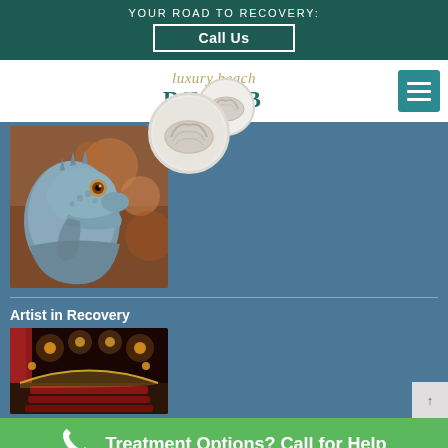YOUR ROAD TO RECOVERY: Call Us
[Figure (logo): Luxury Beach Rehab logo with script text and shell]
[Figure (photo): Close-up photo of an iguana with blue-grey scales]
[Figure (photo): Shell circle overlay in logo area]
Artist in Recovery
[Figure (photo): Interior of an ornate theater with red seats and warm lighting]
Treatment Options? Call for Help